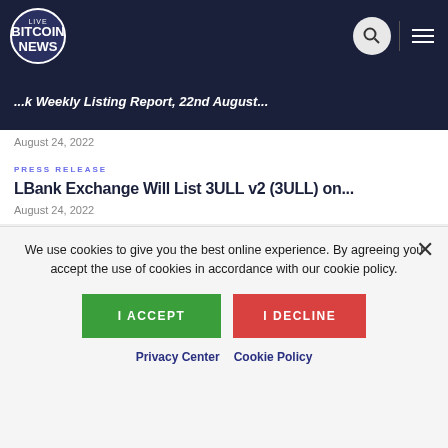LIVE BITCOIN NEWS
...k Weekly Listing Report, 22nd August...
August 24, 2022
PRESS RELEASE
LBank Exchange Will List 3ULL v2 (3ULL) on...
August 24, 2022
PRESS RELEASE
TiFi Ranks Among Top BSC Projects as it...
We use cookies to give you the best online experience. By agreeing you accept the use of cookies in accordance with our cookie policy.
I ACCEPT
I DECLINE
Privacy Center   Cookie Policy